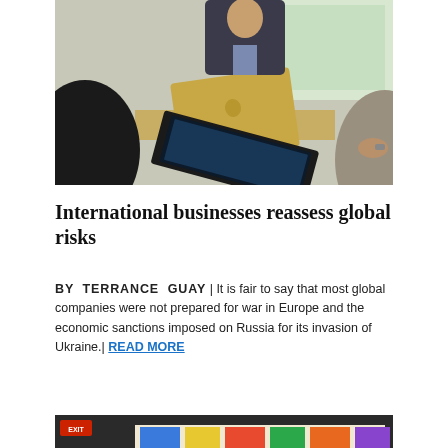[Figure (photo): Business meeting scene with people sitting around a table with laptops, including a gold MacBook laptop visible in the foreground]
International businesses reassess global risks
BY TERRANCE GUAY | It is fair to say that most global companies were not prepared for war in Europe and the economic sanctions imposed on Russia for its invasion of Ukraine.| READ MORE
[Figure (photo): Partially visible image at bottom of page with colorful artwork and an exit sign]